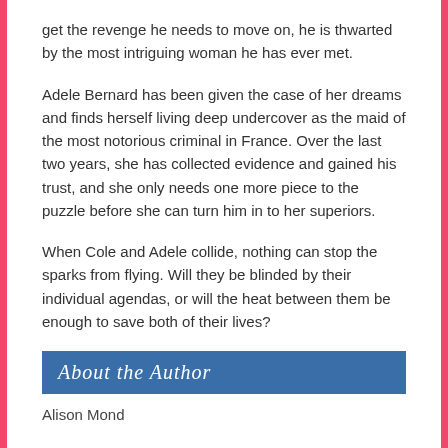get the revenge he needs to move on, he is thwarted by the most intriguing woman he has ever met.
Adele Bernard has been given the case of her dreams and finds herself living deep undercover as the maid of the most notorious criminal in France. Over the last two years, she has collected evidence and gained his trust, and she only needs one more piece to the puzzle before she can turn him in to her superiors.
When Cole and Adele collide, nothing can stop the sparks from flying. Will they be blinded by their individual agendas, or will the heat between them be enough to save both of their lives?
About the Author
Alison Mond